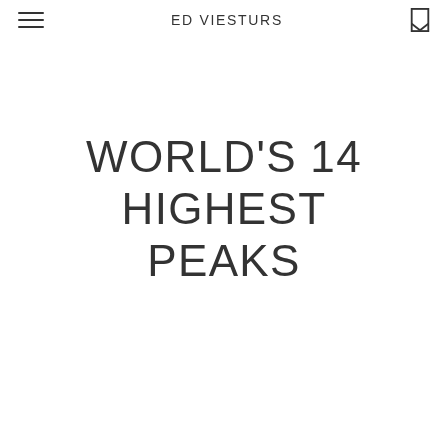ED VIESTURS
WORLD'S 14 HIGHEST PEAKS